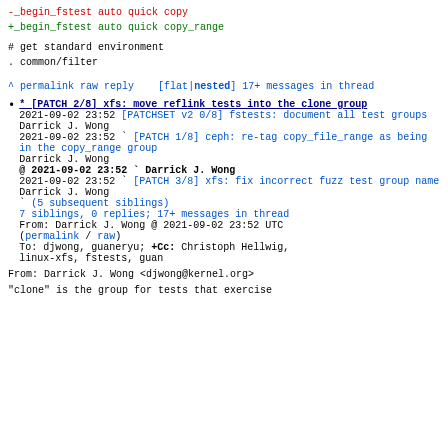-_begin_fstest auto quick copy
+_begin_fstest auto quick copy_range
# get standard environment
. common/filter
^ permalink raw reply   [flat|nested] 17+ messages in thread
* [PATCH 2/8] xfs: move reflink tests into the clone group
2021-09-02 23:52 [PATCHSET v2 0/8] fstests: document all test groups Darrick J. Wong
  2021-09-02 23:52 ` [PATCH 1/8] ceph: re-tag copy_file_range as being in the copy_range group Darrick J. Wong
@ 2021-09-02 23:52 ` Darrick J. Wong
  2021-09-02 23:52 ` [PATCH 3/8] xfs: fix incorrect fuzz test group name Darrick J. Wong
                   ` (5 subsequent siblings)
  7 siblings, 0 replies; 17+ messages in thread
From: Darrick J. Wong @ 2021-09-02 23:52 UTC
(permalink / raw)
  To: djwong, guaneryu; +Cc: Christoph Hellwig, linux-xfs, fstests, guan
From: Darrick J. Wong <djwong@kernel.org>
"clone" is the group for tests that exercise